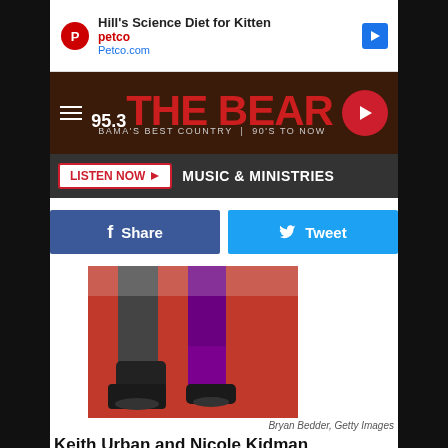[Figure (screenshot): Petco advertisement banner: Hill's Science Diet for Kitten, Petco.com]
[Figure (logo): 95.3 The Bear radio station header - BAMA'S BEST COUNTRY 90'S TO NOW]
MUSIC & MINISTRIES
[Figure (other): Facebook Share button and Twitter Tweet button]
[Figure (photo): Photo of Keith Urban and Nicole Kidman legs/feet on red carpet]
Bryan Bedder, Getty Images
Keith Urban and Nicole Kidman
Young and in love at the 41st annual CMA Awards, in 2007.
[Figure (photo): Photo of Keith Urban and Nicole Kidman at Australia premiere event]